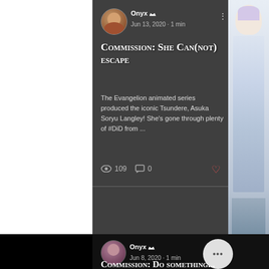[Figure (screenshot): Blog post card with dark background showing anime-style illustration of characters in red costume and others, with author avatar]
Onyx ♛
Jun 13, 2020 · 1 min
Commission: She Can(not) Escape
The Evangelion animated series produced the iconic Tsundere, Asuka Soryu Langley! She's gone through plenty of #DiD from ...
109  0
[Figure (illustration): Elsa from Frozen illustration on right side strip]
Onyx ♛
Jun 8, 2020 · 1 min
Commission: Do something...